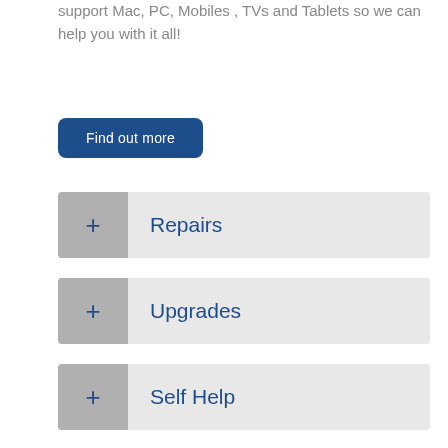support Mac, PC, Mobiles , TVs and Tablets so we can help you with it all!
Find out more
+ Repairs
+ Upgrades
+ Self Help
+ Anti-Virus